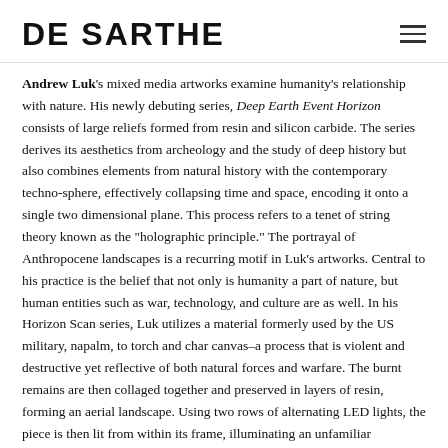DE SARTHE
Andrew Luk's mixed media artworks examine humanity's relationship with nature. His newly debuting series, Deep Earth Event Horizon consists of large reliefs formed from resin and silicon carbide. The series derives its aesthetics from archeology and the study of deep history but also combines elements from natural history with the contemporary techno-sphere, effectively collapsing time and space, encoding it onto a single two dimensional plane. This process refers to a tenet of string theory known as the "holographic principle." The portrayal of Anthropocene landscapes is a recurring motif in Luk's artworks. Central to his practice is the belief that not only is humanity a part of nature, but human entities such as war, technology, and culture are as well. In his Horizon Scan series, Luk utilizes a material formerly used by the US military, napalm, to torch and char canvas–a process that is violent and destructive yet reflective of both natural forces and warfare. The burnt remains are then collaged together and preserved in layers of resin, forming an aerial landscape. Using two rows of alternating LED lights, the piece is then lit from within its frame, illuminating an unfamiliar landscape that seems to exist outside of the wall it rests upon. As minutes pass, the layers appear to shift and slide as the lights change, revealing nuances and subtleties in the mutable